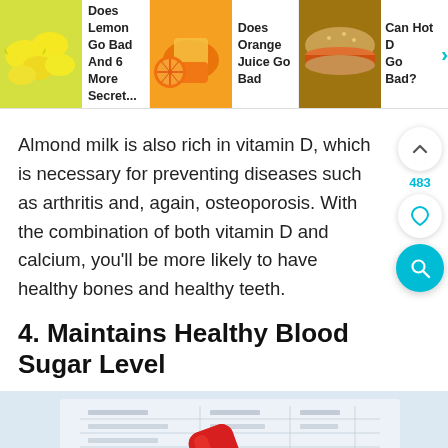Does Lemon Go Bad And 6 More Secret... | Does Orange Juice Go Bad | Can Hot D Go Bad?
Almond milk is also rich in vitamin D, which is necessary for preventing diseases such as arthritis and, again, osteoporosis. With the combination of both vitamin D and calcium, you'll be more likely to have healthy bones and healthy teeth.
4. Maintains Healthy Blood Sugar Level
[Figure (photo): Blood test tube with red cap lying on medical form/lab report paper]